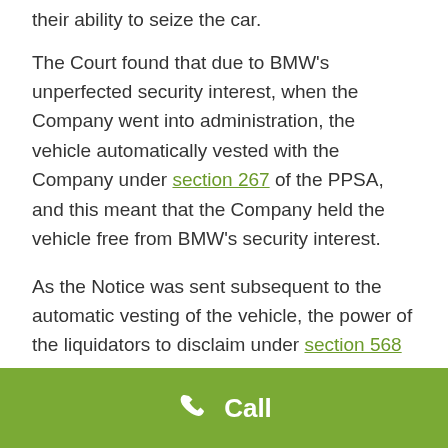their ability to seize the car.
The Court found that due to BMW's unperfected security interest, when the Company went into administration, the vehicle automatically vested with the Company under section 267 of the PPSA, and this meant that the Company held the vehicle free from BMW's security interest.
As the Notice was sent subsequent to the automatic vesting of the vehicle, the power of the liquidators to disclaim under section 568 of the Corporations Act was not enlivened because the Court...
[Figure (other): Green call-to-action bar at the bottom with a phone icon and the text 'Call']